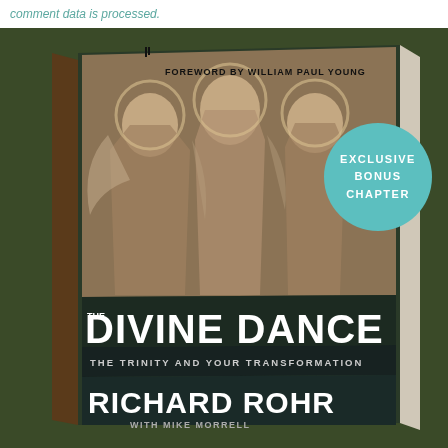comment data is processed.
[Figure (photo): Book cover of 'The Divine Dance: The Trinity and Your Transformation' by Richard Rohr with Mike Morrell, foreword by William Paul Young. Shows three angels from an icon painting on the cover. A teal circular badge reads 'EXCLUSIVE BONUS CHAPTER'.]